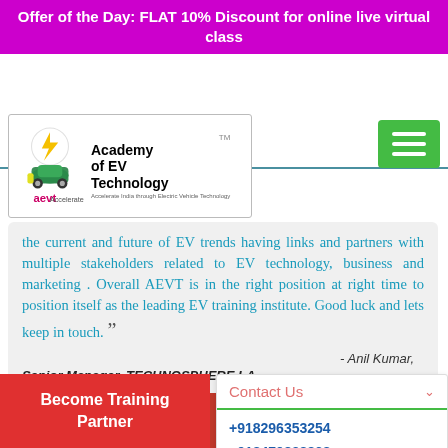Offer of the Day: FLAT 10% Discount for online live virtual class
[Figure (logo): Academy of EV Technology logo with TM mark, showing EV car icon and text]
the current and future of EV trends having links and partners with multiple stakeholders related to EV technology, business and marketing . Overall AEVT is in the right position at right time to position itself as the leading EV training institute. Good luck and lets keep in touch.
- Anil Kumar,
Senior Manager, TECHNOSPHERE LA
Contact Us
+918296353254
+918479838828
11 AM to 6 PM
Become Training Partner